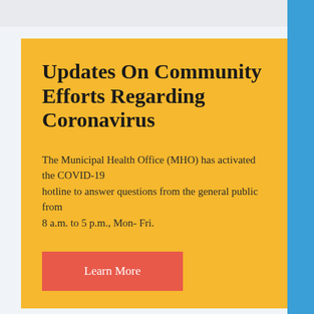Updates On Community Efforts Regarding Coronavirus
The Municipal Health Office (MHO) has activated the COVID-19 hotline to answer questions from the general public from 8 a.m. to 5 p.m., Mon- Fri.
Learn More